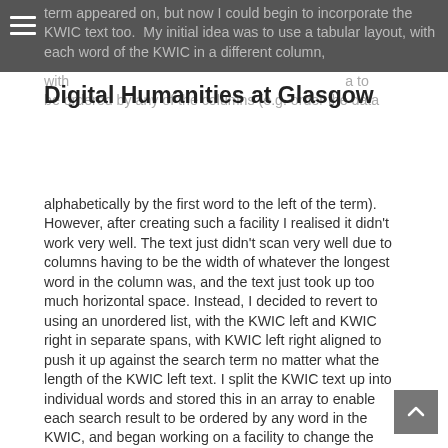term appeared on, but now I could begin to incorporate the KWIC text too.  My initial idea was to use a tabular layout, with each word of the KWIC in a different column, with
Digital Humanities at Glasgow
a to be ordered by any of the columns (e.g. order the data alphabetically by the first word to the left of the term).  However, after creating such a facility I realised it didn't work very well.  The text just didn't scan very well due to columns having to be the width of whatever the longest word in the column was, and the text just took up too much horizontal space.  Instead, I decided to revert to using an unordered list, with the KWIC left and KWIC right in separate spans, with KWIC left right aligned to push it up against the search term no matter what the length of the KWIC left text.  I split the KWIC text up into individual words and stored this in an array to enable each search result to be ordered by any word in the KWIC, and began working on a facility to change the order using a select box above the search results.  This is as far as I got this week, but I'm pretty confident that I'll get things finished next week.  Here's a screenshot of how the KWIC looks so far: